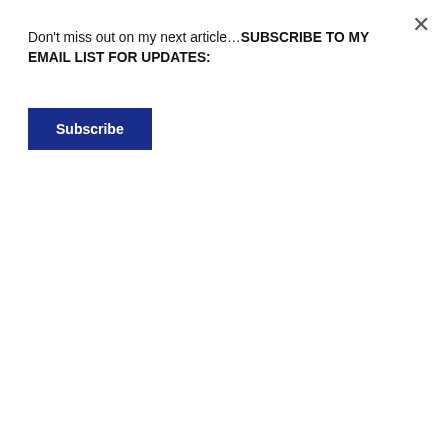Don't miss out on my next article…SUBSCRIBE TO MY EMAIL LIST FOR UPDATES:
[Figure (other): Blue 'Subscribe' button for email list subscription]
ashamed of the Nursing Director on her decision to proceed with this charade.
As a Registered Nurse of more than 35 years, I have practiced Nursing all over the world. I have done my share of privately asking from my